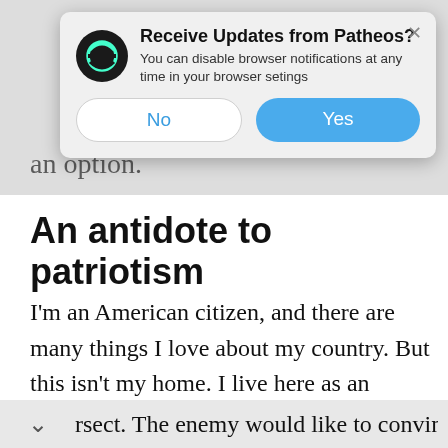[Figure (screenshot): Browser notification popup from Patheos asking 'Receive Updates from Patheos?' with No and Yes buttons, overlaid on a webpage showing an article titled 'An antidote to patriotism']
an option.
An antidote to patriotism
I'm an American citizen, and there are many things I love about my country. But this isn't my home. I live here as an ambassador for another Kingdom, and I'm incredibly skeptical of every place the two kingdoms rsect. The enemy would like to convince